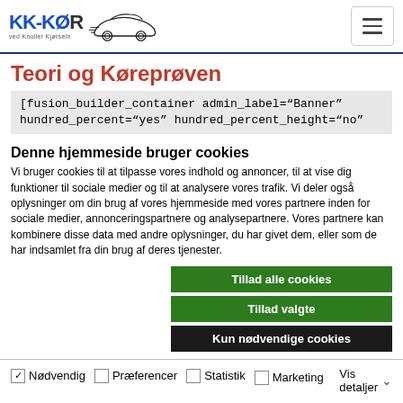KK-KØR logo and navigation header
Teori og Køreprøven
[fusion_builder_container admin_label="Banner" hundred_percent="yes" hundred_percent_height="no"
Denne hjemmeside bruger cookies
Vi bruger cookies til at tilpasse vores indhold og annoncer, til at vise dig funktioner til sociale medier og til at analysere vores trafik. Vi deler også oplysninger om din brug af vores hjemmeside med vores partnere inden for sociale medier, annonceringspartnere og analysepartnere. Vores partnere kan kombinere disse data med andre oplysninger, du har givet dem, eller som de har indsamlet fra din brug af deres tjenester.
Tillad alle cookies
Tillad valgte
Kun nødvendige cookies
Nødvendig  Præferencer  Statistik  Marketing  Vis detaljer